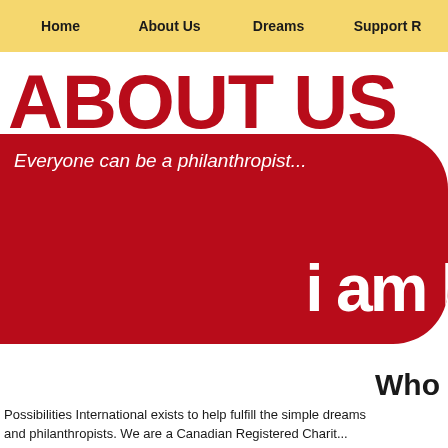Home  About Us  Dreams  Support R
ABOUT US
Everyone can be a philanthropist...
[Figure (illustration): Red rounded banner with tagline and 'i am l' text (cropped)]
Who
Possibilities International exists to help fulfill the simple dreams... and philanthropists. We are a Canadian Registered Charit...